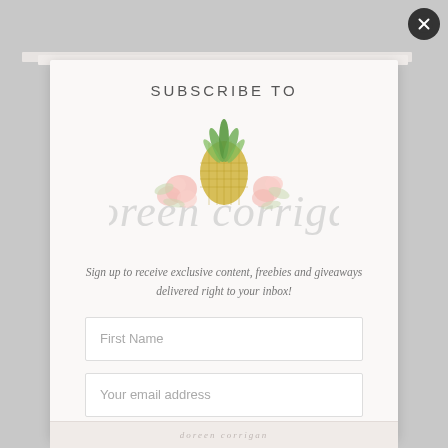SUBSCRIBE TO
[Figure (logo): Doreen Corrigan logo with pineapple and floral illustration above cursive script text 'doreen corrigan']
Sign up to receive exclusive content, freebies and giveaways delivered right to your inbox!
First Name
Your email address